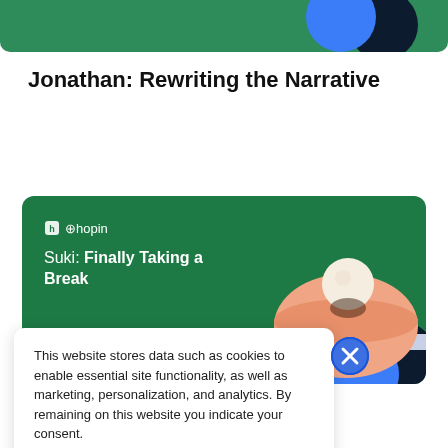[Figure (illustration): Green banner with blue and dark navy circles on the right side, partially visible at top of page]
Jonathan: Rewriting the Narrative
Read the article →
[Figure (illustration): Green card with Hopin logo and 'Suki: Finally Taking a Break' title, with peach/salmon 3D geometric shape illustration on the right]
This website stores data such as cookies to enable essential site functionality, as well as marketing, personalization, and analytics. By remaining on this website you indicate your consent.

Privacy Notice
Read the article →